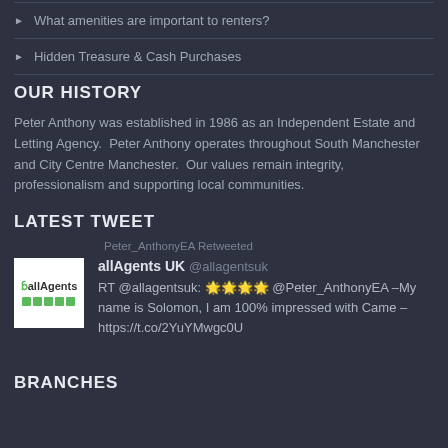What amenities are important to renters?
Hidden Treasure & Cash Purchases
OUR HISTORY
Peter Anthony was established in 1986 as an Independent Estate and Letting Agency.  Peter Anthony operates throughout South Manchester and City Centre Manchester.  Our values remain integrity, professionalism and supporting local communities.
LATEST TWEET
Peter_AnthonyEA Retweeted
allAgents UK @allagentsuk
RT @allagentsuk: 🌟🌟🌟🌟 @Peter_AnthonyEA –My name is Solomon, I am 100% impressed with Came – https://t.co/2YuYMwgc0U
BRANCHES